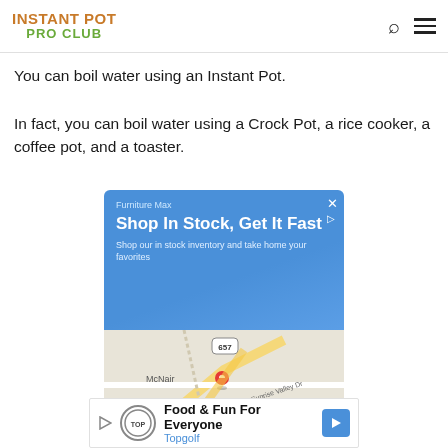INSTANT POT PRO CLUB
You can boil water using an Instant Pot.
In fact, you can boil water using a Crock Pot, a rice cooker, a coffee pot, and a toaster.
[Figure (screenshot): Google Maps advertisement for Furniture Max showing 'Shop In Stock, Get It Fast' with a map showing McNair area near Sunrise Valley Dr, route 657.]
[Figure (screenshot): Topgolf advertisement banner reading 'Food & Fun For Everyone' with Topgolf logo and blue arrow button.]